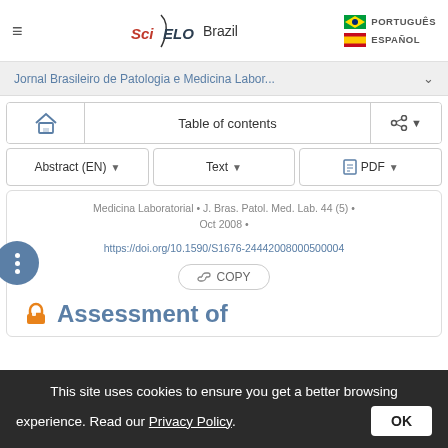≡  SciELO Brazil   PORTUGUÊS   ESPAÑOL
Jornal Brasileiro de Patologia e Medicina Labor... ∨
🏠   Table of contents   ⟨ ▾
Abstract (EN) ▾   Text ▾   PDF ▾
Medicina Laboratorial • J. Bras. Patol. Med. Lab. 44 (5) • Oct 2008 •
https://doi.org/10.1590/S1676-24442008000500004
🔗 COPY
Assessment of
This site uses cookies to ensure you get a better browsing experience. Read our Privacy Policy.
OK